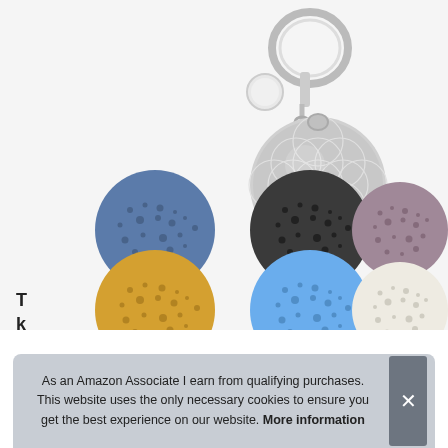[Figure (photo): Product photo of a silver flower-of-life patterned keychain locket with 6 lava stone beads in blue, black, purple, yellow, light blue, and white/cream colors arranged below it on a white background.]
As an Amazon Associate I earn from qualifying purchases. This website uses the only necessary cookies to ensure you get the best experience on our website. More information